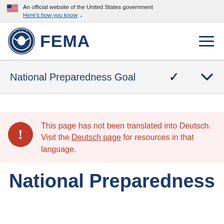An official website of the United States government
Here's how you know ˅
[Figure (logo): FEMA logo with Department of Homeland Security seal and FEMA wordmark]
National Preparedness Goal
This page has not been translated into Deutsch. Visit the Deutsch page for resources in that language.
National Preparedness